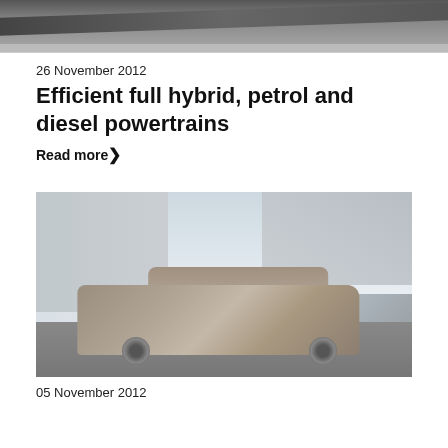[Figure (photo): Top cropped photo showing a road or track surface from above, with dark asphalt and a silver/grey car roof visible at the top edge]
26 November 2012
Efficient full hybrid, petrol and diesel powertrains
Read more >
[Figure (photo): Toyota Auris hatchback in bronze/champagne color parked in front of a modern concrete/glass building with stairs, overcast sky background]
05 November 2012